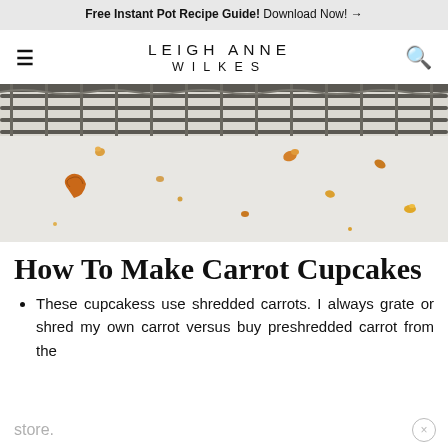Free Instant Pot Recipe Guide! Download Now! →
LEIGH ANNE WILKES
[Figure (photo): Close-up photo of a wire cooling rack with carrot cake crumbs and pieces scattered on a light surface below it.]
How To Make Carrot Cupcakes
These cupcakess use shredded carrots. I always grate or shred my own carrot versus buy preshredded carrot from the store.